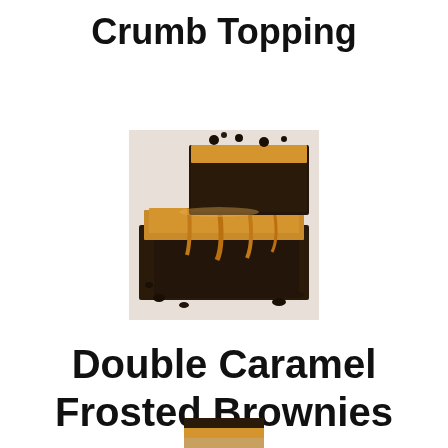Crumb Topping
[Figure (photo): Close-up photo of double caramel frosted brownies with caramel drizzle and chocolate chips on top, stacked on a white surface]
Double Caramel Frosted Brownies
[Figure (photo): Partially visible photo at the bottom of the page, appears to be another food image]